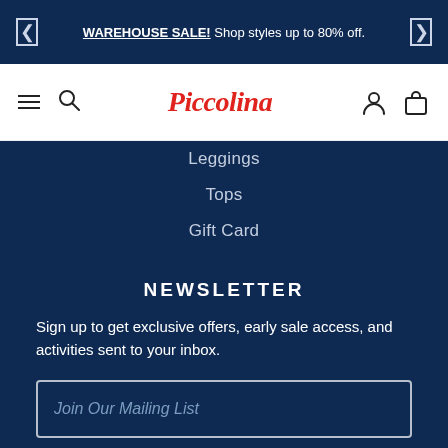WAREHOUSE SALE! Shop styles up to 80% off.
[Figure (logo): Piccolina brand logo in red italic script font]
Leggings
Tops
Gift Card
NEWSLETTER
Sign up to get exclusive offers, early sale access, and activities sent to your inbox.
Join Our Mailing List
SUBSCRIBE